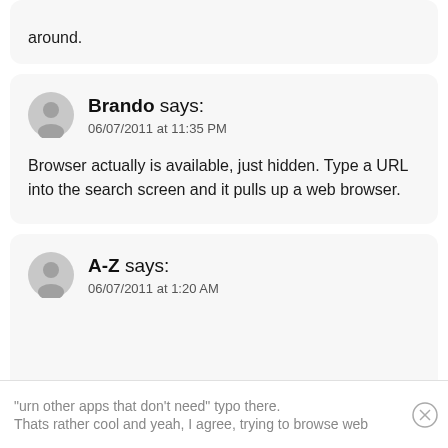around.
Brando says:
06/07/2011 at 11:35 PM

Browser actually is available, just hidden. Type a URL into the search screen and it pulls up a web browser.
A-Z says:
06/07/2011 at 1:20 AM
"urn other apps that don't need" typo there.
Thats rather cool and yeah, I agree, trying to browse web